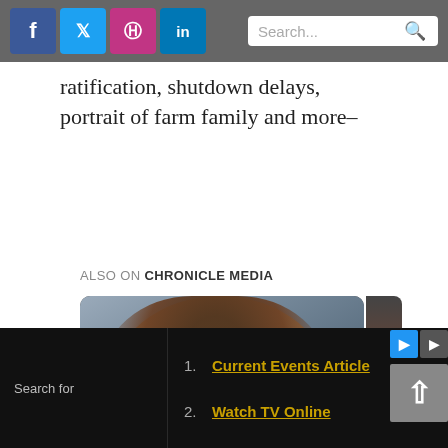Social media icons: Facebook, Twitter, Instagram, LinkedIn. Search bar.
ratification, shutdown delays, portrait of farm family and more–
ALSO ON CHRONICLE MEDIA
[Figure (photo): Carousel with photo of a woman with brown hair, overlaid with text. Navigation arrows on left and right. Text overlay: 'r ago • 1 comment' and 'Measure looks at legal services for ...' A second partially visible card is to the right.]
Search for | 1. Current Events Article  2. Watch TV Online